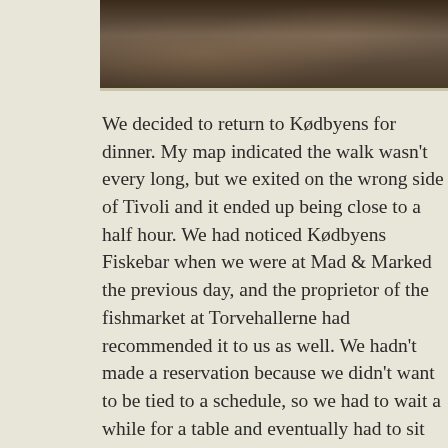[Figure (photo): Partial photograph visible at top of page, showing a dark indoor/outdoor scene with warm lighting, appearing to be a restaurant or social setting. Image is cropped at top and right edges.]
We decided to return to Kødbyens for dinner. My map indicated the walk wasn't every long, but we exited on the wrong side of Tivoli and it ended up being close to a half hour. We had noticed Kødbyens Fiskebar when we were at Mad & Marked the previous day, and the proprietor of the fishmarket at Torvehallerne had recommended it to us as well. We hadn't made a reservation because we didn't want to be tied to a schedule, so we had to wait a while for a table and eventually had to sit outdoors. The sun was already going down and the chill was hardly offset by the blankets they provided to drape over ourselves. Fortunately we had enough warm clothes and scarves to keep the kids warm without burying them in blankets. It was our first restaurant meal in Copenhagen and our gamble paid off. The tapas style restaurant lived up to its reputation with delicious and beautiful presentations of fish and shellfish as well as amazing cocktails.